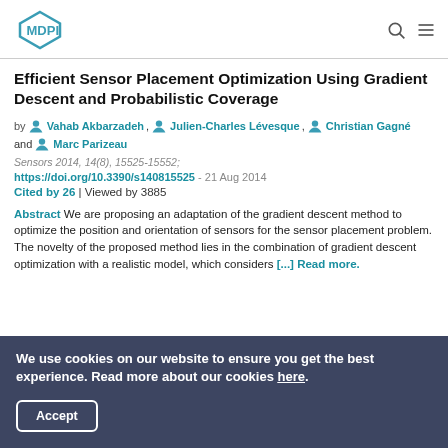MDPI
Efficient Sensor Placement Optimization Using Gradient Descent and Probabilistic Coverage
by Vahab Akbarzadeh, Julien-Charles Lévesque, Christian Gagné and Marc Parizeau
Sensors 2014, 14(8), 15525-15552; https://doi.org/10.3390/s140815525 - 21 Aug 2014
Cited by 26 | Viewed by 3885
Abstract We are proposing an adaptation of the gradient descent method to optimize the position and orientation of sensors for the sensor placement problem. The novelty of the proposed method lies in the combination of gradient descent optimization with a realistic model, which considers [...] Read more.
We use cookies on our website to ensure you get the best experience. Read more about our cookies here.
Accept